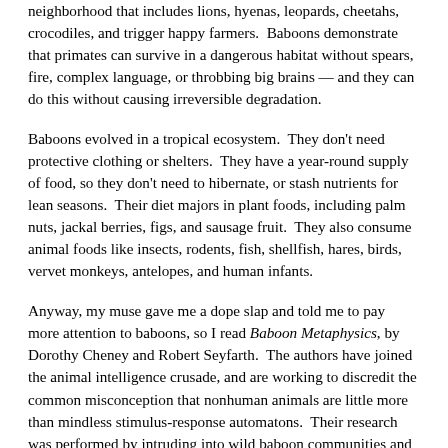neighborhood that includes lions, hyenas, leopards, cheetahs, crocodiles, and trigger happy farmers.  Baboons demonstrate that primates can survive in a dangerous habitat without spears, fire, complex language, or throbbing big brains — and they can do this without causing irreversible degradation.
Baboons evolved in a tropical ecosystem.  They don't need protective clothing or shelters.  They have a year-round supply of food, so they don't need to hibernate, or stash nutrients for lean seasons.  Their diet majors in plant foods, including palm nuts, jackal berries, figs, and sausage fruit.  They also consume animal foods like insects, rodents, fish, shellfish, hares, birds, vervet monkeys, antelopes, and human infants.
Anyway, my muse gave me a dope slap and told me to pay more attention to baboons, so I read Baboon Metaphysics, by Dorothy Cheney and Robert Seyfarth.  The authors have joined the animal intelligence crusade, and are working to discredit the common misconception that nonhuman animals are little more than mindless stimulus-response automatons.  Their research was performed by intruding into wild baboon communities and performing annoying experiments on them.